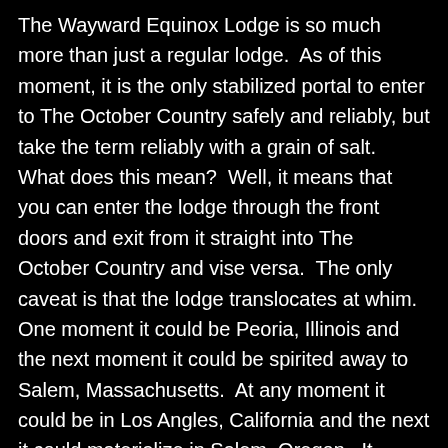The Wayward Equinox Lodge is so much more than just a regular lodge.  As of this moment, it is the only stabilized portal to enter to The October Country safely and reliably, but take the term reliably with a grain of salt.  What does this mean?  Well, it means that you can enter the lodge through the front doors and exit from it straight into The October Country and vise versa.  The only caveat is that the lodge translocates at whim.  One moment it could be Peoria, Illinois and the next moment it could be spirited away to Salem, Massachusetts.  At any moment it could be in Los Angles, California and the next it could materialize in Salem, Oregon.  It seems to move of its own volition and without any sort of distinct pattern.  It seems easily spooked and prone to wander.  It is nearly impossible to calculate where The Wayward